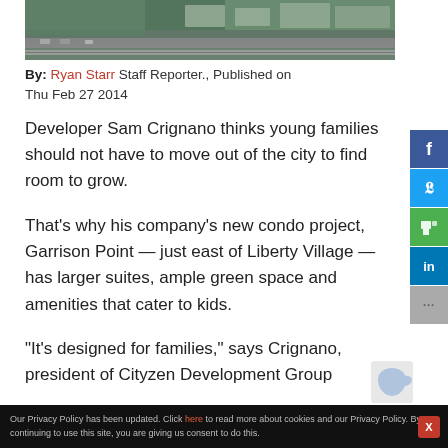[Figure (photo): Aerial view of a development site near Liberty Village, showing green space, roads, and railway tracks.]
By: Ryan Starr Staff Reporter., Published on Thu Feb 27 2014
Developer Sam Crignano thinks young families should not have to move out of the city to find room to grow.
That's why his company's new condo project, Garrison Point — just east of Liberty Village — has larger suites, ample green space and amenities that cater to kids.
“It’s designed for families,” says Crignano, president of Cityzen Development Group
Our Privacy Policy has been updated. Click here to read more about cookies and our Privacy Policy. By continuing to use this site, you are giving us consent to do this.